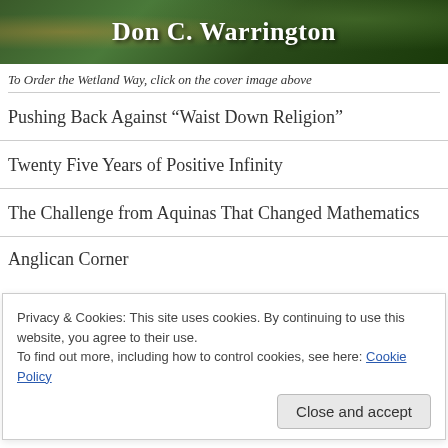[Figure (photo): Header banner image with green/nature background showing 'Don C. Warrington' in bold serif white text]
To Order the Wetland Way, click on the cover image above
Pushing Back Against “Waist Down Religion”
Twenty Five Years of Positive Infinity
The Challenge from Aquinas That Changed Mathematics
Privacy & Cookies: This site uses cookies. By continuing to use this website, you agree to their use.
To find out more, including how to control cookies, see here: Cookie Policy
Anglican Corner